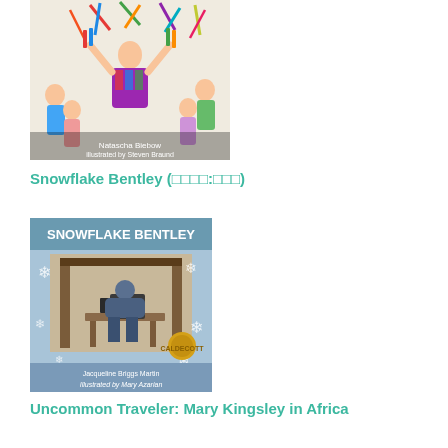[Figure (illustration): Book cover showing a person tossing colorful pencils/confetti with children around them, illustrated children's book cover]
Snowflake Bentley (□□□□:□□□)
[Figure (illustration): Book cover of 'Snowflake Bentley' showing a man hunched over a camera/microscope in blue winter scene with snowflakes, by Jacqueline Briggs Martin, illustrated by Mary Azarian, Caldecott Medal winner]
Uncommon Traveler: Mary Kingsley in Africa